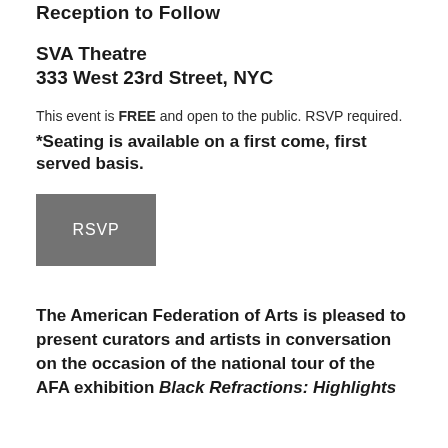Reception to Follow
SVA Theatre
333 West 23rd Street, NYC
This event is FREE and open to the public. RSVP required.
*Seating is available on a first come, first served basis.
[Figure (other): Gray button with white text reading RSVP]
The American Federation of Arts is pleased to present curators and artists in conversation on the occasion of the national tour of the AFA exhibition Black Refractions: Highlights